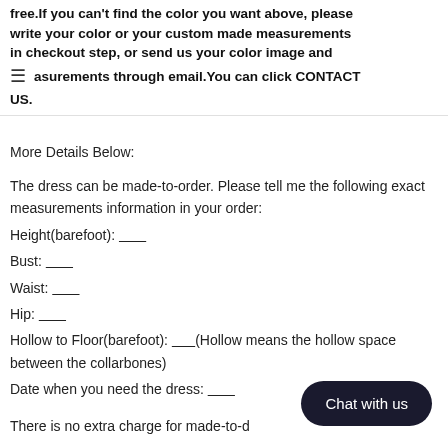free.If you can't find the color you want above, please write your color or your custom made measurements in checkout step, or send us your color image and measurements through email.You can click CONTACT US.
More Details Below:
The dress can be made-to-order. Please tell me the following exact measurements information in your order:
Height(barefoot): _______
Bust: _______
Waist: _______
Hip: _______
Hollow to Floor(barefoot): _______(Hollow means the hollow space between the collarbones)
Date when you need the dress: _______
There is no extra charge for made-to-d...